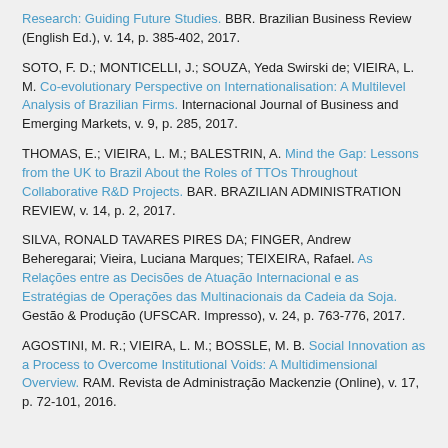Research: Guiding Future Studies. BBR. Brazilian Business Review (English Ed.), v. 14, p. 385-402, 2017.
SOTO, F. D.; MONTICELLI, J.; SOUZA, Yeda Swirski de; VIEIRA, L. M. Co-evolutionary Perspective on Internationalisation: A Multilevel Analysis of Brazilian Firms. Internacional Journal of Business and Emerging Markets, v. 9, p. 285, 2017.
THOMAS, E.; VIEIRA, L. M.; BALESTRIN, A. Mind the Gap: Lessons from the UK to Brazil About the Roles of TTOs Throughout Collaborative R&D Projects. BAR. BRAZILIAN ADMINISTRATION REVIEW, v. 14, p. 2, 2017.
SILVA, RONALD TAVARES PIRES DA; FINGER, Andrew Beheregarai; Vieira, Luciana Marques; TEIXEIRA, Rafael. As Relações entre as Decisões de Atuação Internacional e as Estratégias de Operações das Multinacionais da Cadeia da Soja. Gestão & Produção (UFSCAR. Impresso), v. 24, p. 763-776, 2017.
AGOSTINI, M. R.; VIEIRA, L. M.; BOSSLE, M. B. Social Innovation as a Process to Overcome Institutional Voids: A Multidimensional Overview. RAM. Revista de Administração Mackenzie (Online), v. 17, p. 72-101, 2016.